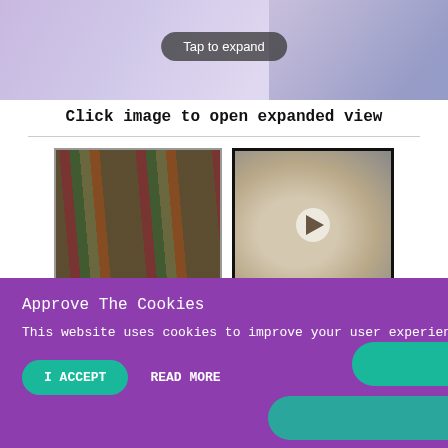[Figure (photo): Top image with colorful pens/markers and a 'Tap to expand' button overlay]
Click image to open expanded view
[Figure (photo): Thumbnail image of colored pencils/pens laid out side by side]
[Figure (screenshot): Thumbnail of a video with a play button showing hands working on a craft]
These pens are so fun and easy to make, you can make them for everyone on your holiday lists! Design by Amy Koranek
Approve The Cookies
This website uses cookies to improve your user experience
I ACCEPT
READ MORE